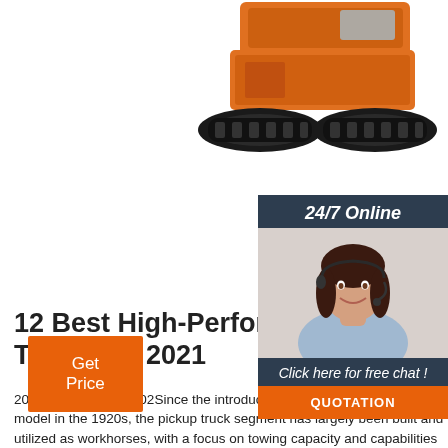[Figure (photo): Photo of orange tracked construction machine (mini excavator/dumper) with black rubber tracks, top portion visible]
[Figure (photo): 24/7 Online chat widget with photo of smiling woman with headset and a QUOTATION button]
12 Best High-Performance Pi Trucks Of 2021
2020-9-28u2002·u2002Since the introduction of the first mass-produced model in the 1920s, the pickup truck segment has largely been built and utilized as workhorses, with a focus on towing capacity and capabilities rather than raw speed, handling, or performance. But starting in the late 1980s and early 1990s, a new trend began to emerge in the US market with the arrival …
[Figure (other): Orange Get Price button]